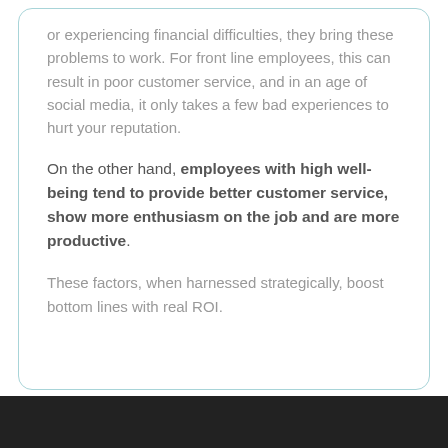or experiencing financial difficulties, they bring these problems to work. For front line employees, this can result in poor customer service, and in an age of social media, it only takes a few bad experiences to hurt your reputation.
On the other hand, employees with high well-being tend to provide better customer service, show more enthusiasm on the job and are more productive.
These factors, when harnessed strategically, boost bottom lines with real ROI.